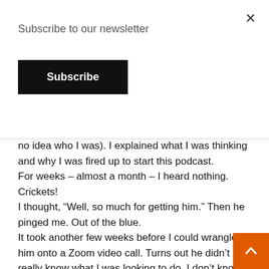Subscribe to our newsletter
Subscribe
no idea who I was). I explained what I was thinking and why I was fired up to start this podcast.
For weeks – almost a month – I heard nothing. Crickets!
I thought, “Well, so much for getting him.” Then he pinged me. Out of the blue.
It took another few weeks before I could wrangle him onto a Zoom video call. Turns out he didn’t really know what I was looking to do. I don’t know if that was due to my inability to communicate or his inability to focus on my communica… Let’s blame us both – ‘cause that’s kinda how partnerships